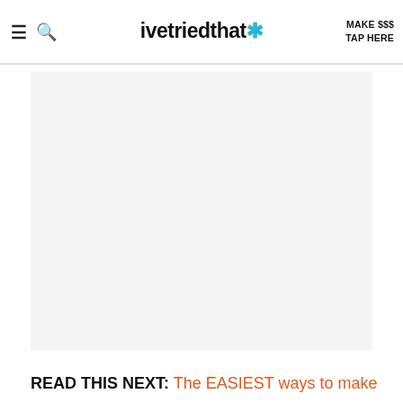ivetriedthat* | MAKE $$$ TAP HERE
[Figure (other): Large light gray placeholder/advertisement block]
READ THIS NEXT: The EASIEST ways to make